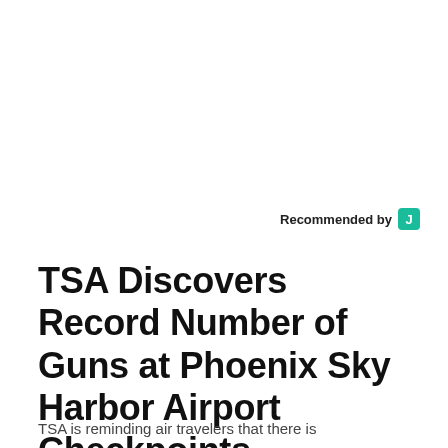Recommended by J
TSA Discovers Record Number of Guns at Phoenix Sky Harbor Airport Checkpoints
TSA is reminding air travelers that there is